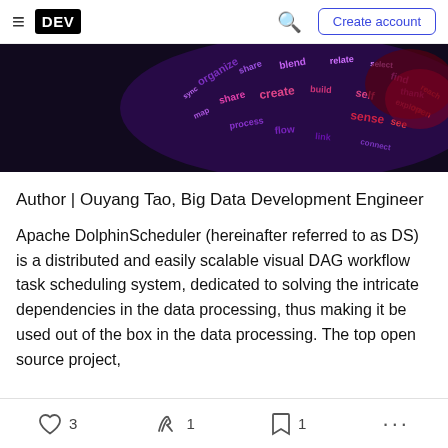DEV | Create account
[Figure (illustration): Colorful word-cloud sticker in purple, pink, and red tones showing words like 'organize', 'blend', 'share' on a dark background, partially cropped.]
Author | Ouyang Tao, Big Data Development Engineer
Apache DolphinScheduler (hereinafter referred to as DS) is a distributed and easily scalable visual DAG workflow task scheduling system, dedicated to solving the intricate dependencies in the data processing, thus making it be used out of the box in the data processing. The top open source project,
3  1  1  ...